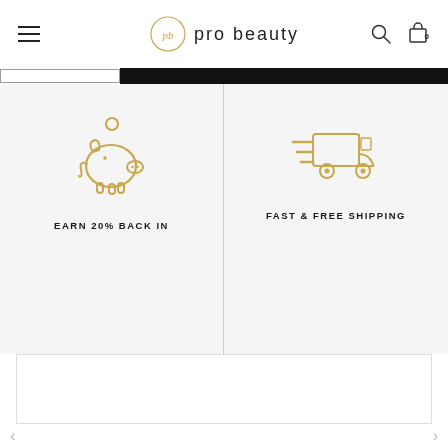pro beauty
[Figure (screenshot): Partial navigation bar element with white box and black bar]
[Figure (illustration): Gold piggy bank icon with coin, and text EARN 20% BACK IN]
[Figure (illustration): Gold delivery truck icon, and text FAST & FREE SHIPPING]
[Figure (screenshot): White content area box below the feature icons]